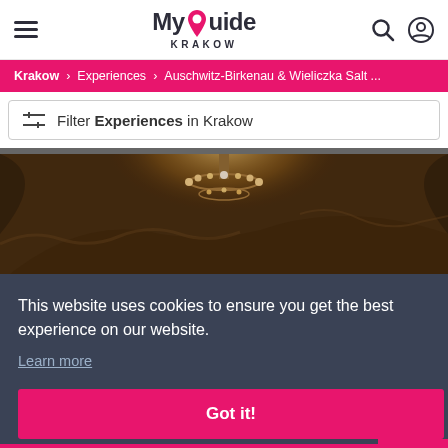[Figure (screenshot): MyGuide Krakow website header with hamburger menu, logo, search and user icons]
Krakow > Experiences > Auschwitz-Birkenau & Wieliczka Salt ...
Filter Experiences in Krakow
[Figure (photo): Interior of Wieliczka Salt Mine with chandelier and stone walls]
This website uses cookies to ensure you get the best experience on our website.
Learn more
Got it!